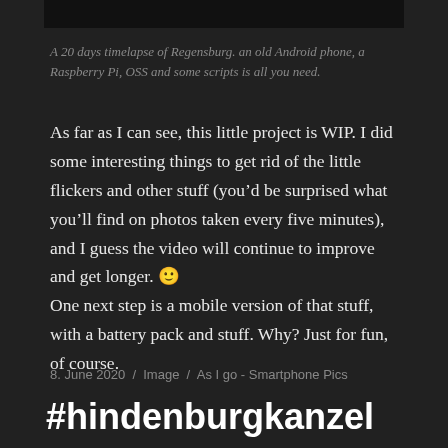[Figure (photo): Dark image bar at top of page]
A 20 days timelapse of Regensburg. an old Android phone, a Raspberry Pi, OSS and some scripts is all you need.
As far as I can see, this little project is WIP. I did some interesting things to get rid of the little flickers and other stuff (you'd be surprised what you'll find on photos taken every five minutes), and I guess the video will continue to improve and get longer. 🙂 One next step is a mobile version of that stuff, with a battery pack and stuff. Why? Just for fun, of course.
8. June 2020  /  Image  /  As I go - Smartphone Pics
#hindenburgkanzel